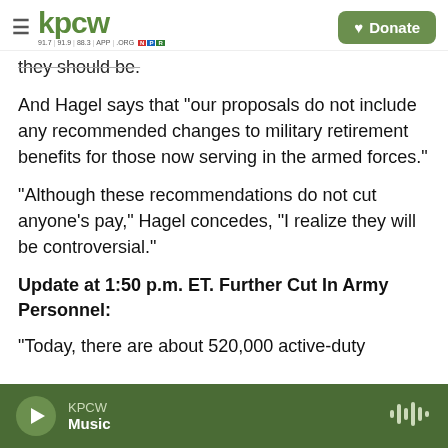KPCW — Donate
they should be.
And Hagel says that "our proposals do not include any recommended changes to military retirement benefits for those now serving in the armed forces."
"Although these recommendations do not cut anyone's pay," Hagel concedes, "I realize they will be controversial."
Update at 1:50 p.m. ET. Further Cut In Army Personnel:
"Today, there are about 520,000 active-duty
KPCW Music